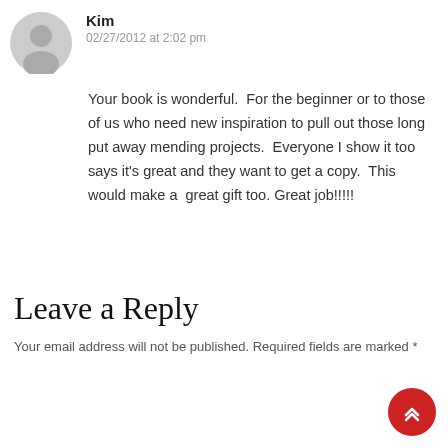[Figure (illustration): Gray circular avatar icon with silhouette of a person, used as a default user profile image]
Kim
02/27/2012 at 2:02 pm
Your book is wonderful.  For the beginner or to those of us who need new inspiration to pull out those long put away mending projects.  Everyone I show it too says it's great and they want to get a copy.  This would make a  great gift too.  Great job!!!!!
Leave a Reply
Your email address will not be published. Required fields are marked *